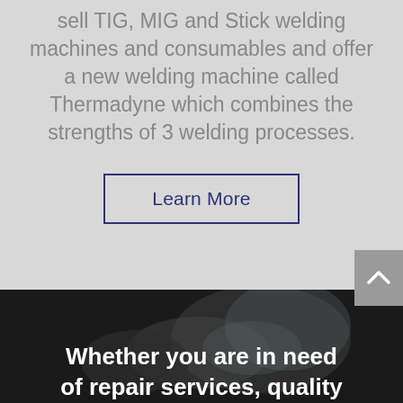sell TIG, MIG and Stick welding machines and consumables and offer a new welding machine called Thermadyne which combines the strengths of 3 welding processes.
[Figure (screenshot): A rectangular button with a dark navy/indigo border containing the text 'Learn More' in dark navy color on a light gray background.]
[Figure (photo): Dark photo of a person welding with gloved hands visible, dark background. Overlaid white bold text reads 'Whether you are in need of repair services, quality']
Whether you are in need of repair services, quality